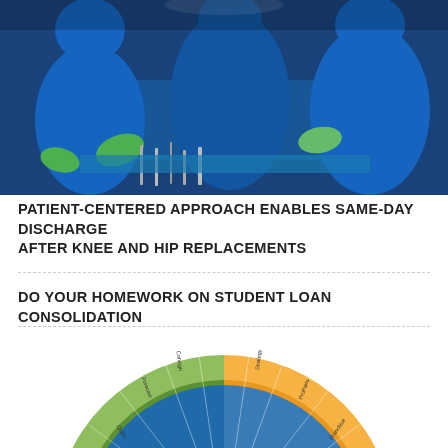[Figure (photo): Surgical team in blue gowns and gloves performing an operation on a patient draped in blue, with surgical instruments visible on a tray.]
PATIENT-CENTERED APPROACH ENABLES SAME-DAY DISCHARGE AFTER KNEE AND HIP REPLACEMENTS
DO YOUR HOMEWORK ON STUDENT LOAN CONSOLIDATION
[Figure (infographic): Circular radial infographic labeled 'Inside Market Reports' at the center, with colored segments in blue, green, and yellow/gold representing various market categories and sub-categories arranged in concentric rings.]